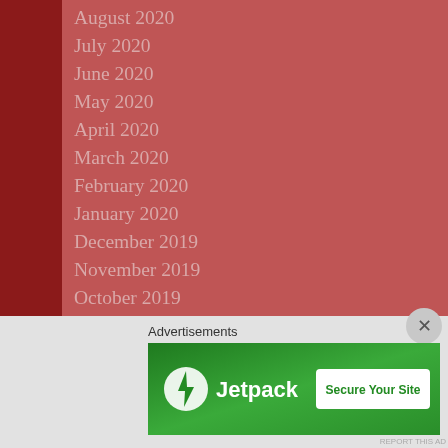August 2020
July 2020
June 2020
May 2020
April 2020
March 2020
February 2020
January 2020
December 2019
November 2019
October 2019
September 2019
July 2019
June 2019
May 2019
April 2019
March 2019
Advertisements
[Figure (screenshot): Jetpack advertisement banner with green background showing Jetpack logo and 'Secure Your Site' button]